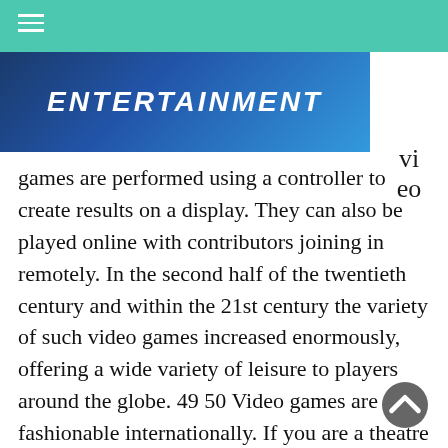[Figure (screenshot): Website header with teal navigation bar showing hamburger menu icon, and a blue gradient banner image with white bold italic text 'ENTERTAINMENT' partially visible]
Video games are performed using a controller to create results on a display. They can also be played online with contributors joining in remotely. In the second half of the twentieth century and within the 21st century the variety of such video games increased enormously, offering a wide variety of leisure to players around the globe. 49 50 Video games are fashionable internationally. If you are a theatre buff, then this sort of leisure is correct up your alley. The theatre permits you to witness the passion and drive of the